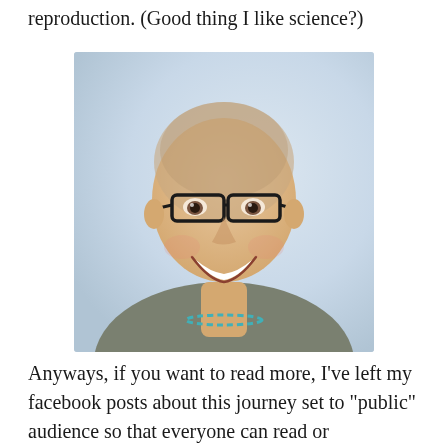reproduction. (Good thing I like science?)
[Figure (photo): Smiling woman with shaved head wearing dark-framed glasses and a turquoise beaded necklace over an olive/grey top, selfie-style photo against a light grey background.]
Anyways, if you want to read more, I’ve left my facebook posts about this journey set to “public” audience so that everyone can read or